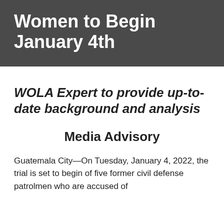Women to Begin January 4th
WOLA Expert to provide up-to-date background and analysis
Media Advisory
Guatemala City—On Tuesday, January 4, 2022, the trial is set to begin of five former civil defense patrolmen who are accused of